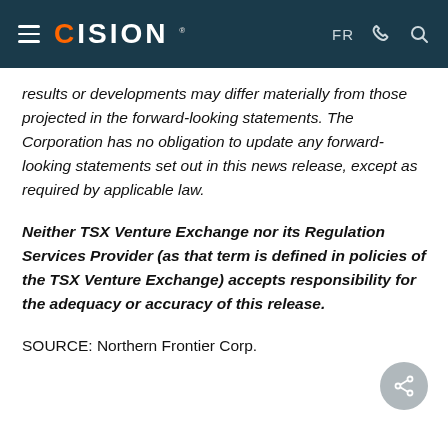CISION — FR
results or developments may differ materially from those projected in the forward-looking statements. The Corporation has no obligation to update any forward-looking statements set out in this news release, except as required by applicable law.
Neither TSX Venture Exchange nor its Regulation Services Provider (as that term is defined in policies of the TSX Venture Exchange) accepts responsibility for the adequacy or accuracy of this release.
SOURCE: Northern Frontier Corp.